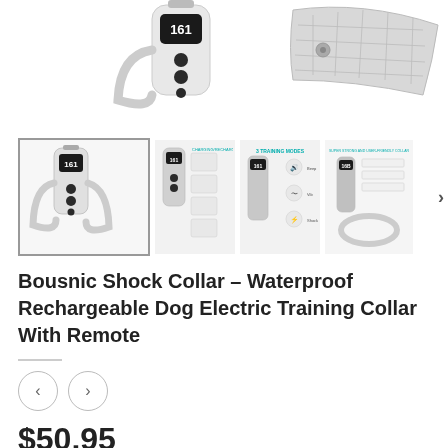[Figure (photo): Top portion of product image showing a white electronic dog collar remote device on the left and a silver metal band/strap on the right, on white background.]
[Figure (photo): Thumbnail gallery row showing four product images of the Bousnic Shock Collar: main product photo selected (collar with remote), charging/accessories info graphic, 3 training modes diagram, and award/user-friendly collar graphic. A right arrow navigation button is visible.]
Bousnic Shock Collar – Waterproof Rechargeable Dog Electric Training Collar With Remote
[Figure (other): Two circular navigation arrows (left and right) for cycling through product variants or images.]
$50.95